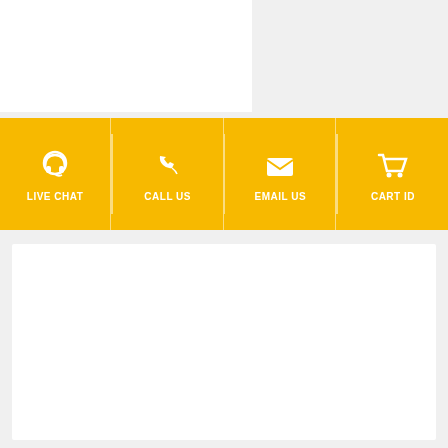Coat Finish
FRU-877-BS-CC
$146.00
[Figure (infographic): Yellow banner with four icons: Live Chat (headset), Call Us (phone), Email Us (envelope), Cart ID (shopping cart)]
SUBSCRIBE NOW
Sign Up for email updates & special offers:
Your email address
Go
Find Us:
[Figure (logo): Facebook and Twitter social media icons in grey rounded squares]